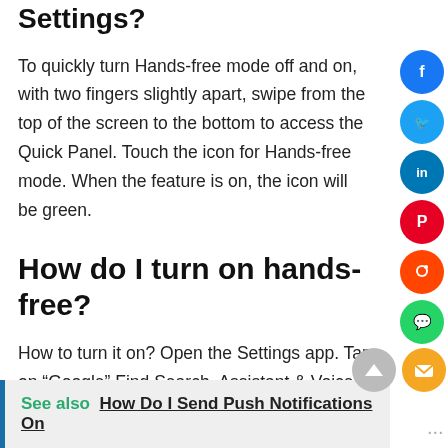Settings?
To quickly turn Hands-free mode off and on, with two fingers slightly apart, swipe from the top of the screen to the bottom to access the Quick Panel. Touch the icon for Hands-free mode. When the feature is on, the icon will be green.
How do I turn on hands-free?
How to turn it on? Open the Settings app. Tap on “Google” Find Search, Assistant & Voice. Tap and open Voice. Then Voice Match setting. Turn on both of the first two toggles: “Access with Voice Match” and “Unlock with Voice Match”.
See also  How Do I Send Push Notifications On